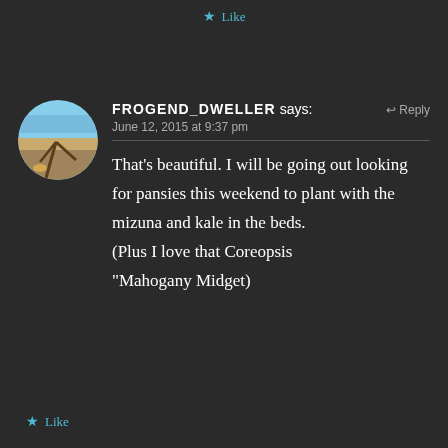Like
FROGEND_DWELLER says:
June 12, 2015 at 9:37 pm
That's beautiful. I will be going out looking for pansies this weekend to plant with the mizuna and kale in the beds.
(Plus I love that Coreopsis “Mahogany Midget)
Like